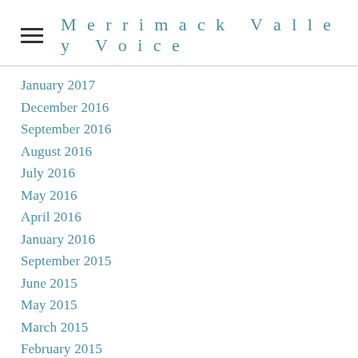Merrimack Valley Voice
January 2017
December 2016
September 2016
August 2016
July 2016
May 2016
April 2016
January 2016
September 2015
June 2015
May 2015
March 2015
February 2015
January 2015
December 2014
November 2014
October 2014